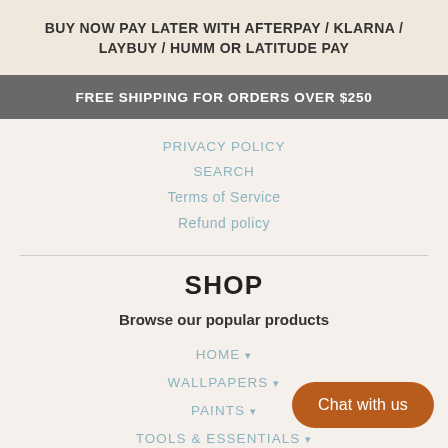BUY NOW PAY LATER WITH AFTERPAY / KLARNA / LAYBUY / HUMM OR LATITUDE PAY
FREE SHIPPING FOR ORDERS OVER $250
PRIVACY POLICY
SEARCH
Terms of Service
Refund policy
SHOP
Browse our popular products
HOME ▾
WALLPAPERS ▾
PAINTS ▾
TOOLS & ESSENTIALS ▾
MAGNETICS ▾
Chat with us